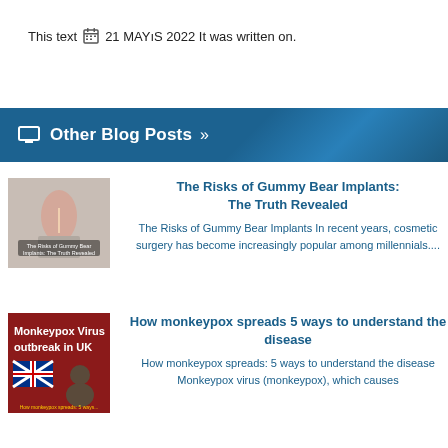This text 📅 21 MAYIS 2022 It was written on.
🖥 Other Blog Posts »
[Figure (photo): Thumbnail image for gummy bear implants article showing a woman measuring her waist with a tape measure, with text overlay 'The Risks of Gummy Bear Implants: The Truth Revealed']
The Risks of Gummy Bear Implants: The Truth Revealed
The Risks of Gummy Bear Implants In recent years, cosmetic surgery has become increasingly popular among millennials....
[Figure (photo): Thumbnail image with red background and UK flag, showing monkeypox virus outbreak in UK with text 'Monkeypox Virus outbreak in UK']
How monkeypox spreads 5 ways to understand the disease
How monkeypox spreads: 5 ways to understand the disease Monkeypox virus (monkeypox), which causes